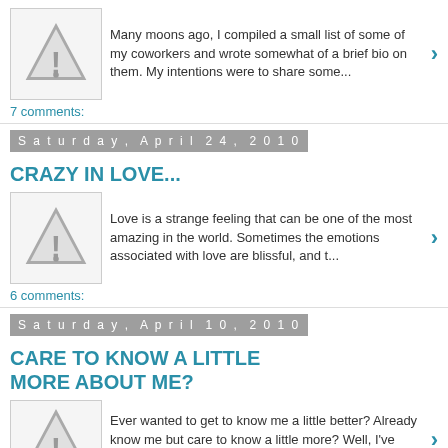[Figure (illustration): Warning triangle icon with exclamation mark]
Many moons ago, I compiled a small list of some of my coworkers and wrote somewhat of a brief bio on them. My intentions were to share some...
7 comments:
Saturday, April 24, 2010
CRAZY IN LOVE...
[Figure (illustration): Warning triangle icon with exclamation mark]
Love is a strange feeling that can be one of the most amazing in the world. Sometimes the emotions associated with love are blissful, and t...
6 comments:
Saturday, April 10, 2010
CARE TO KNOW A LITTLE MORE ABOUT ME?
[Figure (illustration): Warning triangle icon with exclamation mark (partially visible)]
Ever wanted to get to know me a little better? Already know me but care to know a little more? Well, I've recently decided to open up t...